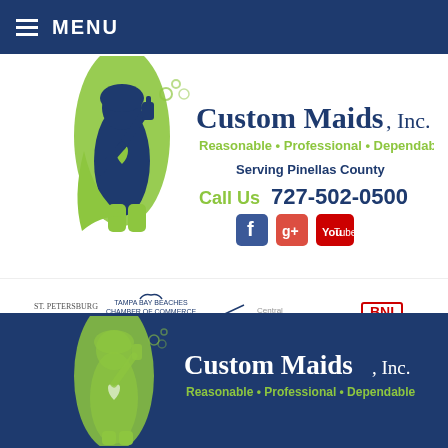MENU
[Figure (logo): Custom Maids Inc logo with superhero maid character in lime green and navy, spray bottle, bubbles. Text: Custom Maids, Inc. Reasonable * Professional * Dependable. Serving Pinellas County. Call Us 727-502-0500. Facebook, Google+, and YouTube social icons.]
[Figure (logo): Four membership logos: St. Petersburg Chamber Proud Member, Tampa Bay Beaches Chamber of Commerce, Central Pinellas Chamber of Commerce, BNI Member]
[Figure (logo): Custom Maids Inc logo on dark navy blue background with lime green superhero maid character. Text: Custom Maids, Inc. Reasonable * Professional * Dependable.]